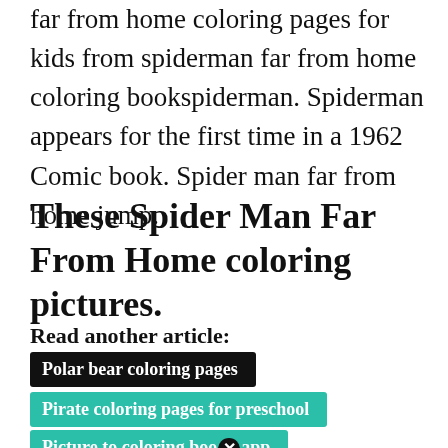far from home coloring pages for kids from spiderman far from home coloring bookspiderman. Spiderman appears for the first time in a 1962 Comic book. Spider man far from home jump.
These Spider Man Far From Home coloring pictures.
Read another article:
Polar bear coloring pages
Pirate coloring pages for preschool
Picture to coloring boo[x]app